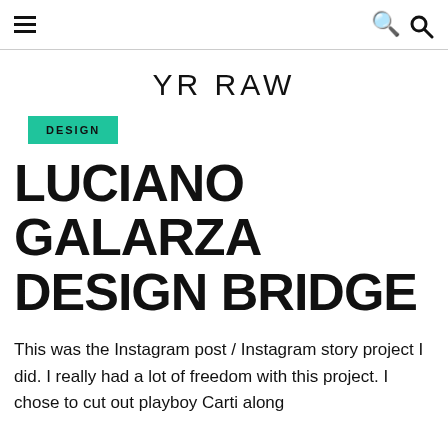≡  YR RAW  🔍
YR RAW
DESIGN
LUCIANO GALARZA DESIGN BRIDGE
This was the Instagram post / Instagram story project I did. I really had a lot of freedom with this project. I chose to cut out playboy Carti along